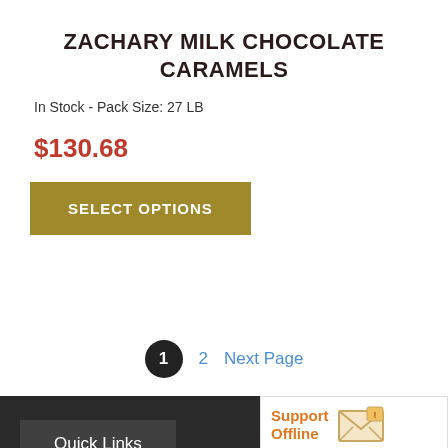ZACHARY MILK CHOCOLATE CARAMELS
In Stock - Pack Size: 27 LB
$130.68
SELECT OPTIONS
1   2   Next Page
Quick Links
[Figure (screenshot): Support Offline chat widget with envelope icon and 'Please leave a message' button]
[Figure (logo): GoDaddy verified and secured badge]